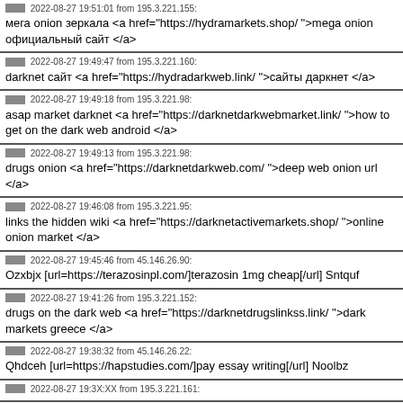мега onion зеркала <a href="https://hydramarkets.shop/ ">mega onion официальный сайт </a>
2022-08-27 19:49:47 from 195.3.221.160: darknet сайт <a href="https://hydradarkweb.link/ ">сайты даркнет </a>
2022-08-27 19:49:18 from 195.3.221.98: asap market darknet <a href="https://darknetdarkwebmarket.link/ ">how to get on the dark web android </a>
2022-08-27 19:49:13 from 195.3.221.98: drugs onion <a href="https://darknetdarkweb.com/ ">deep web onion url </a>
2022-08-27 19:46:08 from 195.3.221.95: links the hidden wiki <a href="https://darknetactivemarkets.shop/ ">online onion market </a>
2022-08-27 19:45:46 from 45.146.26.90: Ozxbjx [url=https://terazosinpl.com/]terazosin 1mg cheap[/url] Sntquf
2022-08-27 19:41:26 from 195.3.221.152: drugs on the dark web <a href="https://darknetdrugslinkss.link/ ">dark markets greece </a>
2022-08-27 19:38:32 from 45.146.26.22: Qhdceh [url=https://hapstudies.com/]pay essay writing[/url] Noolbz
2022-08-27 19:3X:XX from 195.3.221.161: